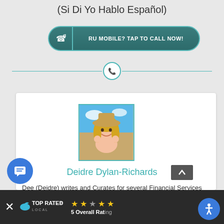(Si Di Yo Hablo Español)
[Figure (infographic): Teal rounded button with phone icon and text 'RU MOBILE? TAP TO CALL NOW!']
[Figure (infographic): Horizontal divider line with teal circle containing phone icon in the center]
[Figure (photo): Photo of a smiling blonde woman wearing a cowboy hat at a beach]
Deidre Dylan-Richards
Dee (Deidre) writes and Curates for several Financial Services Site Blogs. We're glad to have her.
[Figure (infographic): Top Rated Local logo bar with stars rating showing 5 Overall Rating, close button, and accessibility icon]